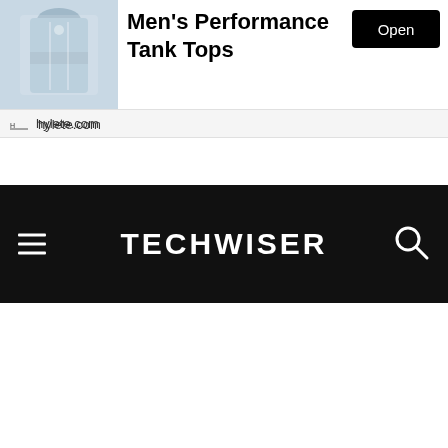[Figure (screenshot): Advertisement banner for Men's Performance Tank Tops from hylete.com showing a clothing image on the left, title text in center, and an Open button on the right]
hylete.com
[Figure (screenshot): Collapse/chevron-up button below the ad banner]
TECHWISER